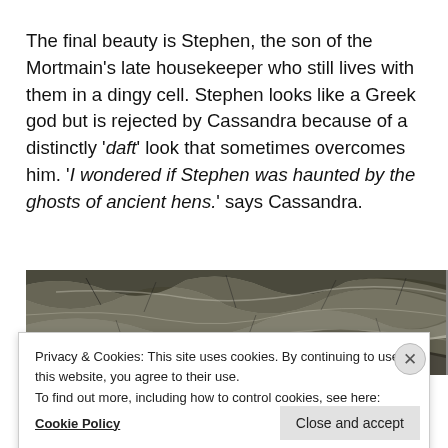The final beauty is Stephen, the son of the Mortmain's late housekeeper who still lives with them in a dingy cell. Stephen looks like a Greek god but is rejected by Cassandra because of a distinctly 'daft' look that sometimes overcomes him. 'I wondered if Stephen was haunted by the ghosts of ancient hens.' says Cassandra.
[Figure (photo): A black and white textured image resembling cracked or weathered surface, possibly foliage or landscape, spanning the width of the page.]
Privacy & Cookies: This site uses cookies. By continuing to use this website, you agree to their use.
To find out more, including how to control cookies, see here: Cookie Policy
Close and accept